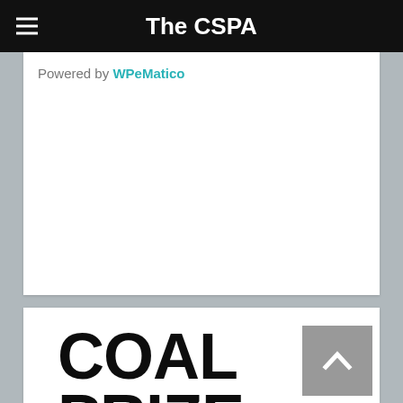The CSPA
Powered by WPeMatico
COAL PRIZE ART AND ENVIRONMENT 2013: